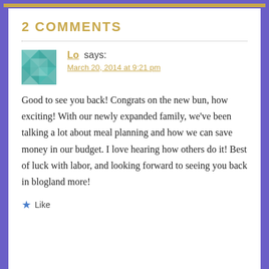2 COMMENTS
Lo says:
March 20, 2014 at 9:21 pm
Good to see you back! Congrats on the new bun, how exciting! With our newly expanded family, we've been talking a lot about meal planning and how we can save money in our budget. I love hearing how others do it! Best of luck with labor, and looking forward to seeing you back in blogland more!
★ Like